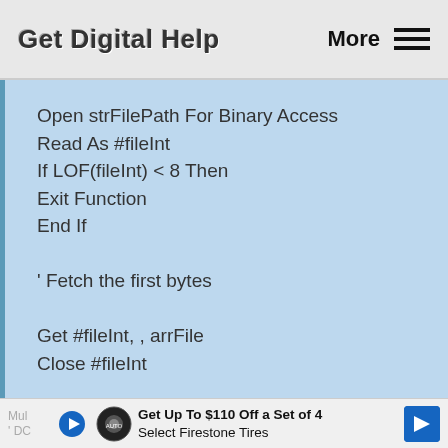Get Digital Help   More ☰
Open strFilePath For Binary Access Read As #fileInt
If LOF(fileInt) < 8 Then
Exit Function
End If

' Fetch the first bytes

Get #fileInt, , arrFile
Close #fileInt

' Compare with Encrypted OLE2 /
Mul
' DC
Get Up To $110 Off a Set of 4 Select Firestone Tires